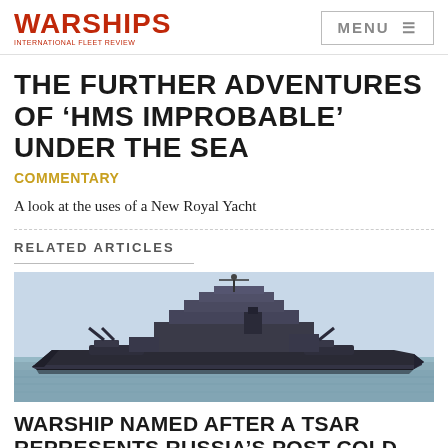WARSHIPS INTERNATIONAL FLEET REVIEW | MENU
THE FURTHER ADVENTURES OF 'HMS IMPROBABLE' UNDER THE SEA
COMMENTARY
A look at the uses of a New Royal Yacht
RELATED ARTICLES
[Figure (photo): A large warship (battlecruiser) photographed at sea from the side, low profile, multiple superstructures visible, hazy sky background]
WARSHIP NAMED AFTER A TSAR REPRESENTS RUSSIA'S POST-COLD WAR ENDURANCE AGAINST THE ODDS